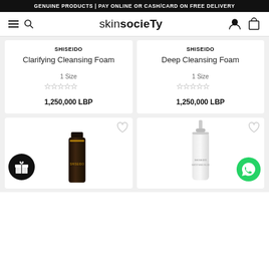GENUINE PRODUCTS | PAY ONLINE OR CASH/CARD ON FREE DELIVERY
[Figure (screenshot): Skin Society website navigation bar with hamburger menu, search icon, logo, user icon, and cart icon]
SHISEIDO
Clarifying Cleansing Foam
1 Size
1,250,000 LBP
SHISEIDO
Deep Cleansing Foam
1 Size
1,250,000 LBP
[Figure (photo): Shiseido dark tube product with gift badge and heart icon]
[Figure (photo): Shiseido white bottle product with WhatsApp button and heart icon]